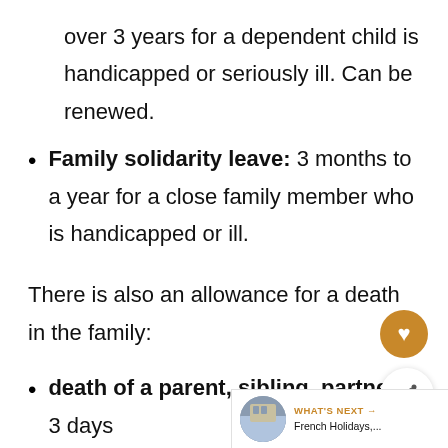over 3 years for a dependent child is handicapped or seriously ill. Can be renewed.
Family solidarity leave: 3 months to a year for a close family member who is handicapped or ill.
There is also an allowance for a death in the family:
death of a parent, sibling, partner: 3 days